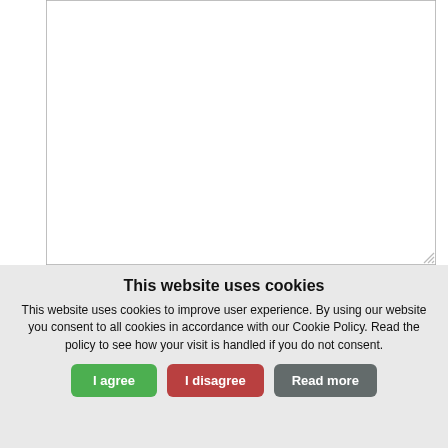[Figure (screenshot): Web form textarea input field (large, empty, with resize handle at bottom-right corner)]
Name *
[Figure (screenshot): Web form text input field for Name (medium sized, empty)]
Email *
[Figure (screenshot): Cookie consent banner with title 'This website uses cookies', descriptive text, and three buttons: I agree, I disagree, Read more]
This website uses cookies
This website uses cookies to improve user experience. By using our website you consent to all cookies in accordance with our Cookie Policy. Read the policy to see how your visit is handled if you do not consent.